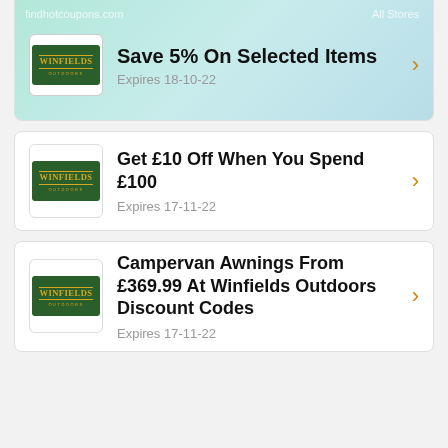findhotcoupons.com   All Stores
Save 5% On Selected Items
Expires 18-10-22
Get £10 Off When You Spend £100
Expires 17-11-22
Campervan Awnings From £369.99 At Winfields Outdoors Discount Codes
Expires 17-11-22